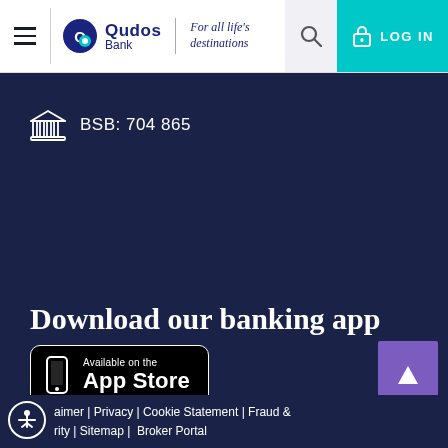Qudos Bank | For all life's destinations | LOG IN
BSB: 704 865
Download our banking app
[Figure (logo): Available on the App Store badge]
Disclaimer | Privacy | Cookie Statement | Fraud & Security | Sitemap | Broker Portal